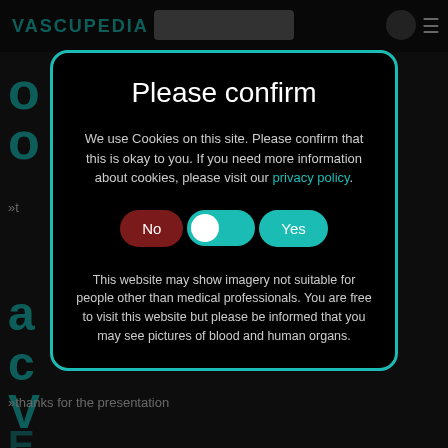[Figure (screenshot): Vascupedia website background showing teal logo, navigation header, and partial page content in dark theme]
Please confirm
We use Cookies on this site. Please confirm that this is okay to you. If you need more information about cookies, please visit our privacy policy.
[Figure (infographic): Toggle switch UI element with 'No' button on left (dark red), toggle in middle (teal with white thumb), and 'Yes' button on right (teal)]
This website may show imagery not suitable for people other than medical professionals. You are free to visit this website but please be informed that you may see pictures of blood and human organs.